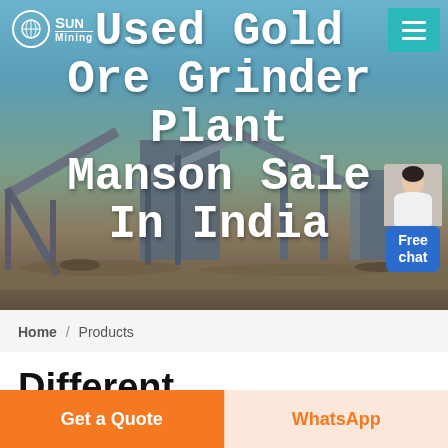[Figure (screenshot): Hero banner showing industrial mining/crushing plant equipment with conveyor belts against a sky background. Overlaid with large white bold text title.]
Used Gold Ore Grinder Plant Manson Sale In India
Home / Products
Different
Get a Quote
WhatsApp